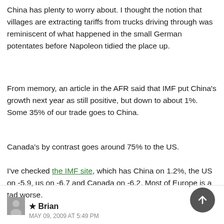China has plenty to worry about. I thought the notion that villages are extracting tariffs from trucks driving through was reminiscent of what happened in the small German potentates before Napoleon tidied the place up.
From memory, an article in the AFR said that IMF put China's growth next year as still positive, but down to about 1%. Some 35% of our trade goes to China.
Canada's by contrast goes around 75% to the US.
I've checked the IMF site, which has China on 1.2%, the US on -5.9, us on -6.7 and Canada on -6.2. Most of Europe is a tad worse.
★ Brian
MAY 09, 2009 AT 5:49 PM